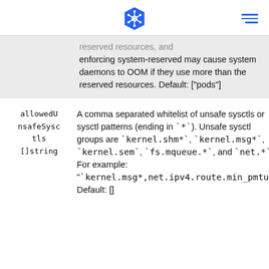Kubernetes logo and navigation menu
reserved resources, and enforcing system-reserved may cause system daemons to OOM if they use more than the reserved resources. Default: ["pods"]
allowedUnsafeSysctls []string	A comma separated whitelist of unsafe sysctls or sysctl patterns (ending in `*`). Unsafe sysctl groups are `kernel.shm*`, `kernel.msg*`, `kernel.sem`, `fs.mqueue.*`, and `net.*`. For example: "`kernel.msg*,net.ipv4.route.min_pmtu`" Default: []